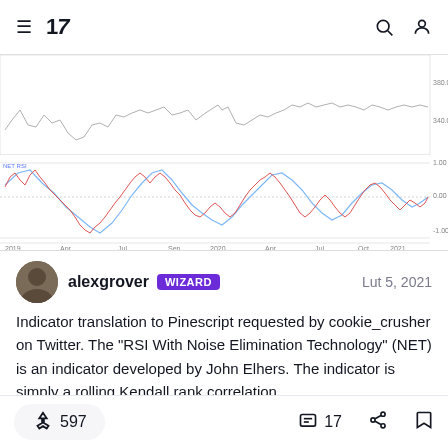TradingView navigation bar with hamburger menu, logo, search and account icons
[Figure (continuous-plot): TradingView chart showing price chart on top (2019–2021) with candlestick/line data, and below it a NET RSI oscillator panel with a red line and blue line oscillating between -1.00 and 1.00, with a 0.00 midline. X-axis labels: 2019, Apr, Jul, Sep, 2020, Apr, Jul, Oct, 2021, Apr. Y-axis labels for price: 380.00, 340.00. Y-axis for oscillator: 1.00, 0.00, -1.00]
alexgrover  WIZARD  Lut 5, 2021
Indicator translation to Pinescript requested by cookie_crusher on Twitter. The "RSI With Noise Elimination Technology" (NET) is an indicator developed by John Elhers. The indicator is simply a rolling Kendall rank correlation...
597  17